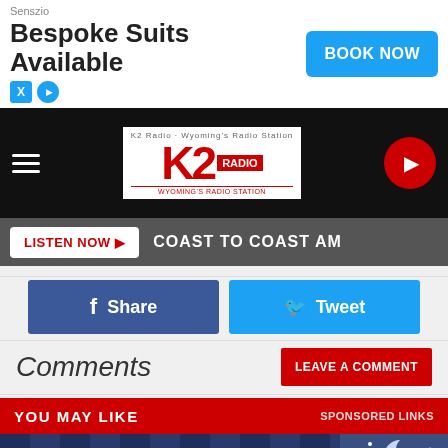[Figure (screenshot): Top advertisement banner: Senszio Bespoke Suits Available with BOOK NOW button]
[Figure (logo): K2 Radio logo with navigation bar and play button]
LISTEN NOW ▶  COAST TO COAST AM
f Share
Tweet
Comments
LEAVE A COMMENT
YOU MAY LIKE    SPONSORED LINKS
[Figure (illustration): Night sky illustration with moon and stars]
[Figure (screenshot): Bottom advertisement banner: Senszio Bespoke Suits Available with Book Now button]